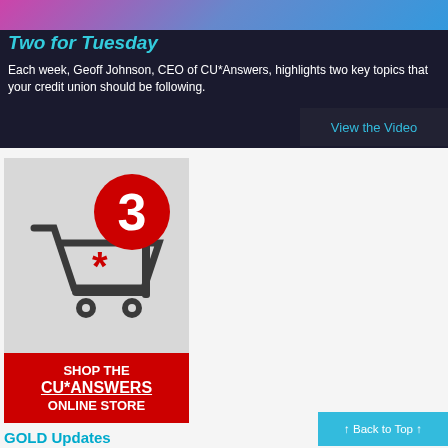Two for Tuesday
Each week, Geoff Johnson, CEO of CU*Answers, highlights two key topics that your credit union should be following.
View the Video
[Figure (illustration): Shopping cart icon with red asterisk and red notification badge showing number 3, above a red banner reading SHOP THE CU*ANSWERS ONLINE STORE]
↑ Back to Top ↑
GOLD Updates